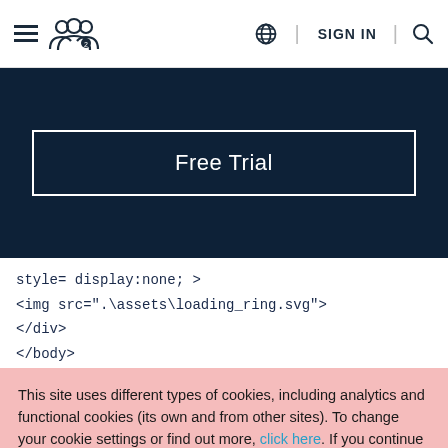≡  [people icon]  [globe] SIGN IN [search]
[Figure (screenshot): Dark navy blue header section with a 'Free Trial' button outlined in white]
style= display:none; >
<img src=".\assets\loading_ring.svg">
</div>
</body>
This site uses different types of cookies, including analytics and functional cookies (its own and from other sites). To change your cookie settings or find out more, click here. If you continue browsing our website, you accept these cookies.
I AGREE   LEARN MORE   Reject